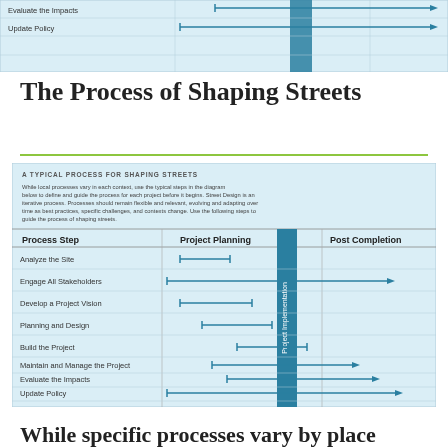[Figure (other): Partial view of a Gantt-style process diagram showing 'Evaluate the Impacts' and 'Update Policy' rows with arrows extending to the right, with a teal 'Project Implementation' column highlighted.]
The Process of Shaping Streets
[Figure (infographic): A TYPICAL PROCESS FOR SHAPING STREETS diagram - a Gantt-style chart showing process steps (Analyze the Site, Engage All Stakeholders, Develop a Project Vision, Planning and Design, Build the Project, Maintain and Manage the Project, Evaluate the Impacts, Update Policy) across Project Planning and Post Completion phases, with a vertical teal 'Project Implementation' band. Descriptive text above explains local processes vary by context.]
While specific processes vary by place